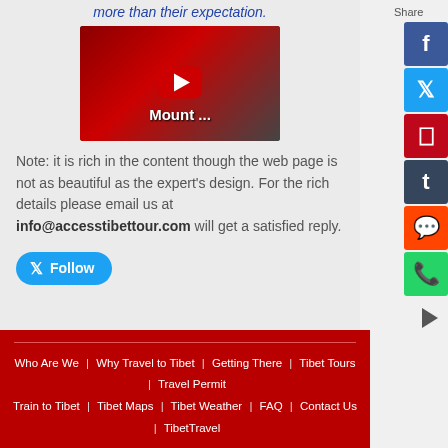more than their expectation.
[Figure (other): YouTube video thumbnail showing Mount ... with red play button]
Note: it is rich in the content though the web page is not as beautiful as the expert's design. For the rich details please email us at info@accesstibettour.com will get a satisfied reply.
Follow
Who Are We | Why Travel to Tibet | Getting There | Tibet Tours | Travel Permit | Train to Tibet | Tibet Maps | Tibet Weather | FAQ | Contact Us | TibetTravel